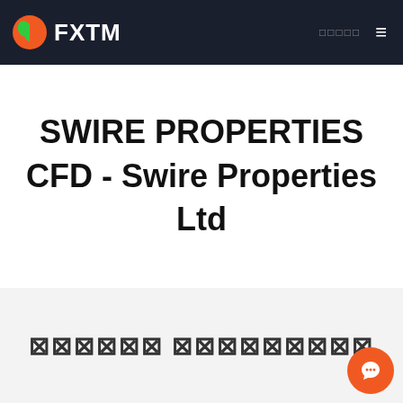FXTM
SWIRE PROPERTIES CFD - Swire Properties Ltd
⊠⊠⊠⊠⊠⊠ ⊠⊠⊠⊠⊠⊠⊠⊠⊠